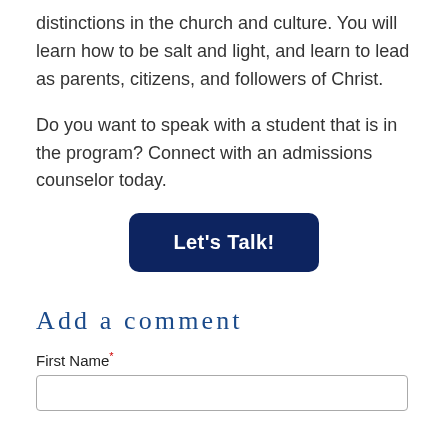distinctions in the church and culture. You will learn how to be salt and light, and learn to lead as parents, citizens, and followers of Christ.
Do you want to speak with a student that is in the program? Connect with an admissions counselor today.
[Figure (other): Dark navy blue button with rounded corners labeled 'Let's Talk!']
Add a comment
First Name*